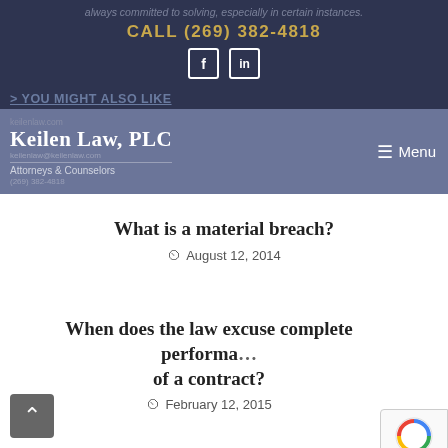always committed to solving, especially in certain instances.
CALL (269) 382-4818
[Figure (logo): Facebook and LinkedIn social media icons]
> YOU MIGHT ALSO LIKE
[Figure (logo): Keilen Law, PLC – Attorneys & Counselors firm header with navigation menu]
What is a material breach?
August 12, 2014
When does the law excuse complete performance of a contract?
February 12, 2015